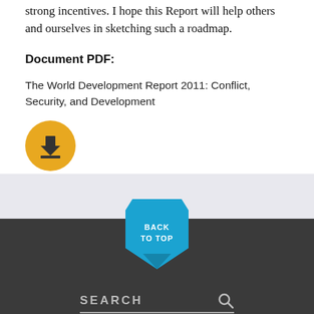strong incentives. I hope this Report will help others and ourselves in sketching such a roadmap.
Document PDF:
The World Development Report 2011: Conflict, Security, and Development
[Figure (illustration): Yellow circular download button with a download arrow icon]
[Figure (illustration): Blue bookmark/chevron shaped button with text BACK TO TOP]
SEARCH